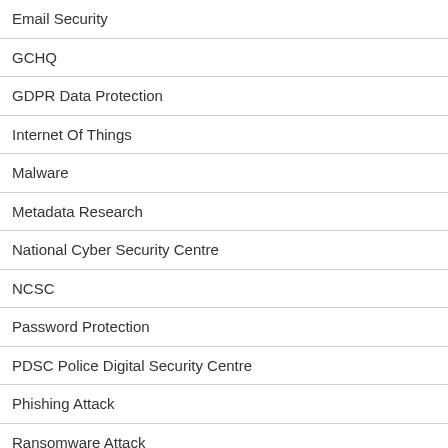Email Security
GCHQ
GDPR Data Protection
Internet Of Things
Malware
Metadata Research
National Cyber Security Centre
NCSC
Password Protection
PDSC Police Digital Security Centre
Phishing Attack
Ransomware Attack
Safe Browser Surfing